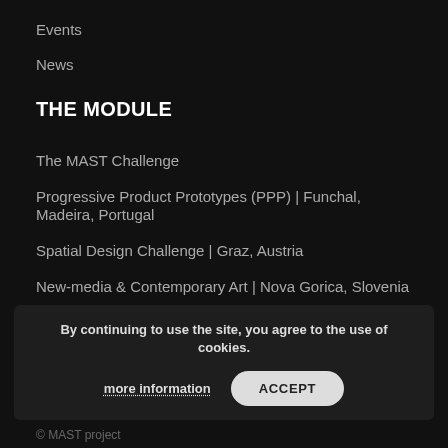Events
News
THE MODULE
The MAST Challenge
Progressive Product Prototypes (PPP) | Funchal, Madeira, Portugal
Spatial Design Challenge | Graz, Austria
New-media & Contemporary Art | Nova Gorica, Slovenia
Idea to Concept | Budapest, Hungary
MAST Interfacing Academy | Rijeka, Croatia
MAST | Master projects & theses
By continuing to use the site, you agree to the use of cookies.
more information
ACCEPT
© MAST project